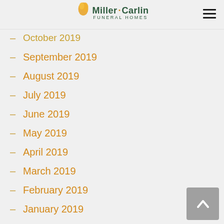Miller-Carlin Funeral Homes
October 2019
September 2019
August 2019
July 2019
June 2019
May 2019
April 2019
March 2019
February 2019
January 2019
December 2018
November 2018
October 2018
September 2018